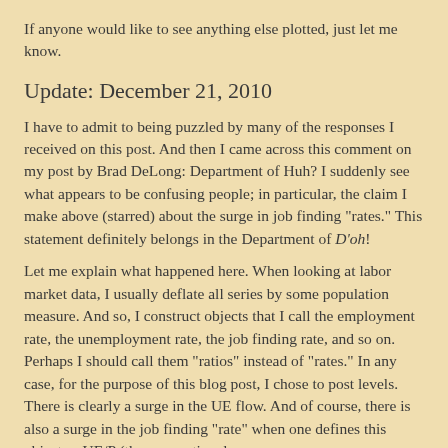If anyone would like to see anything else plotted, just let me know.
Update: December 21, 2010
I have to admit to being puzzled by many of the responses I received on this post. And then I came across this comment on my post by Brad DeLong: Department of Huh? I suddenly see what appears to be confusing people; in particular, the claim I make above (starred) about the surge in job finding "rates." This statement definitely belongs in the Department of D'oh!
Let me explain what happened here. When looking at labor market data, I usually deflate all series by some population measure. And so, I construct objects that I call the employment rate, the unemployment rate, the job finding rate, and so on. Perhaps I should call them "ratios" instead of "rates." In any case, for the purpose of this blog post, I chose to post levels. There is clearly a surge in the UE flow. And of course, there is also a surge in the job finding "rate" when one defines this object as UE/P (the conventional